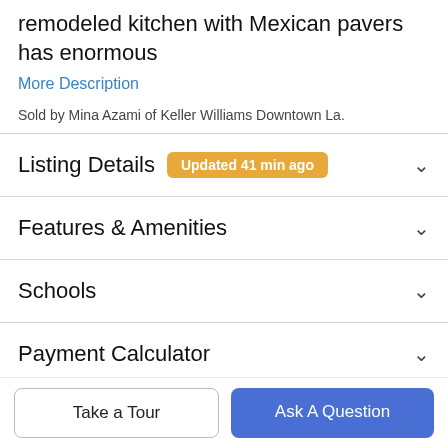remodeled kitchen with Mexican pavers has enormous
More Description
Sold by Mina Azami of Keller Williams Downtown La.
Listing Details  Updated 41 min ago
Features & Amenities
Schools
Payment Calculator
Contact Agent
Take a Tour
Ask A Question